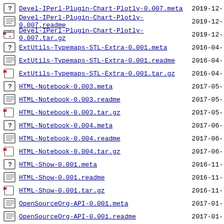Devel-IPerl-Plugin-Chart-Plotly-0.007.meta 2019-12-
Devel-IPerl-Plugin-Chart-Plotly-0.007.readme 2019-12-
Devel-IPerl-Plugin-Chart-Plotly-0.007.tar.gz 2019-12-
ExtUtils-Typemaps-STL-Extra-0.001.meta 2016-04-
ExtUtils-Typemaps-STL-Extra-0.001.readme 2016-04-
ExtUtils-Typemaps-STL-Extra-0.001.tar.gz 2016-04-
HTML-Notebook-0.003.meta 2017-05-
HTML-Notebook-0.003.readme 2017-05-
HTML-Notebook-0.003.tar.gz 2017-05-
HTML-Notebook-0.004.meta 2017-06-
HTML-Notebook-0.004.readme 2017-06-
HTML-Notebook-0.004.tar.gz 2017-06-
HTML-Show-0.001.meta 2016-11-
HTML-Show-0.001.readme 2016-11-
HTML-Show-0.001.tar.gz 2016-11-
OpenSourceOrg-API-0.001.meta 2017-01-
OpenSourceOrg-API-0.001.readme 2017-01-